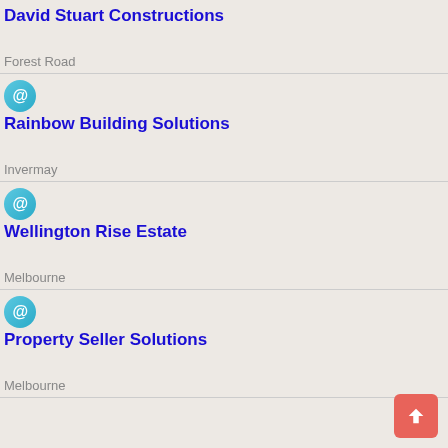David Stuart Constructions
Forest Road
Rainbow Building Solutions
Invermay
Wellington Rise Estate
Melbourne
Property Seller Solutions
Melbourne